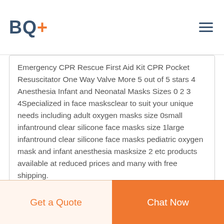BQ+
Emergency CPR Rescue First Aid Kit CPR Pocket Resuscitator One Way Valve More 5 out of 5 stars 4 Anesthesia Infant and Neonatal Masks Sizes 0 2 3 4Specialized in face masksclear to suit your unique needs including adult oxygen masks size 0small infantround clear silicone face masks size 1large infantround clear silicone face masks pediatric oxygen mask and infant anesthesia masksize 2 etc products available at reduced prices and many with free shipping.
infant anesthesia mask manufacturer czech
Anesthesia Mask China Trade Buy China Direct From